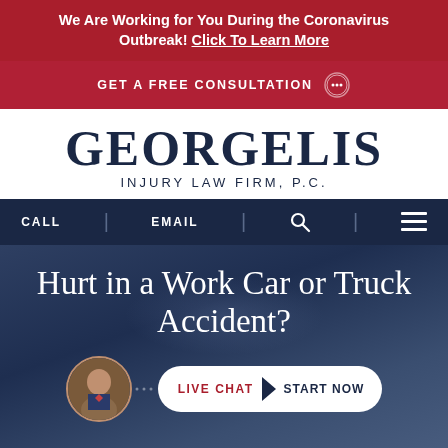We Are Working for You During the Coronavirus Outbreak! Click To Learn More
GET A FREE CONSULTATION
[Figure (logo): Georgelis Injury Law Firm, P.C. logo with serif typography in dark navy blue]
CALL | EMAIL | [search icon] | [menu icon]
Hurt in a Work Car or Truck Accident?
[Figure (other): Live chat button with attorney avatar photo and LIVE CHAT > START NOW call to action in white pill-shaped button]